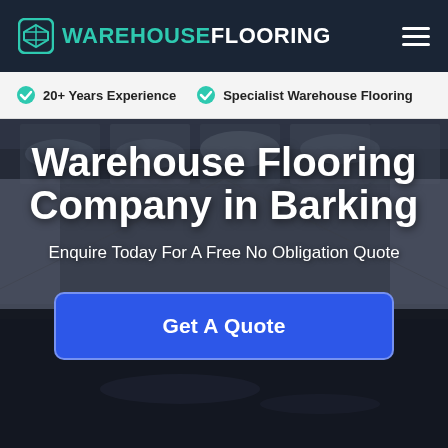WAREHOUSEFLOORING
20+ Years Experience
Specialist Warehouse Flooring
[Figure (photo): Interior of a large empty warehouse with polished dark concrete floor, industrial ceiling with skylights, and a person in high-visibility vest and hard hat visible in the background]
Warehouse Flooring Company in Barking
Enquire Today For A Free No Obligation Quote
Get A Quote